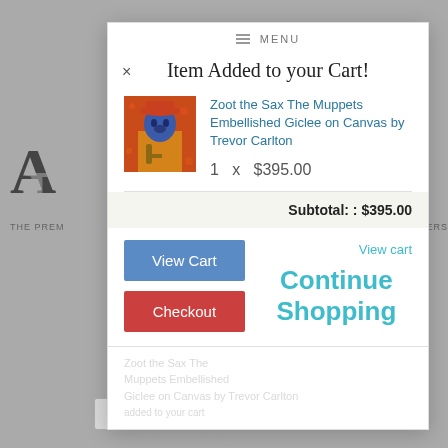[Figure (screenshot): E-commerce website background with ArtInsights watermark and 'THE PREM...LMAKERS' tagline visible behind modal overlay]
Item Added to your Cart!
Zoot the Sax The Muppets Embellished Giclee on Canvas by Trevor Carlton
1  x  $395.00
Subtotal: : $395.00
View Cart
Checkout
View cart
Continue Shopping
Sort by new arrivals